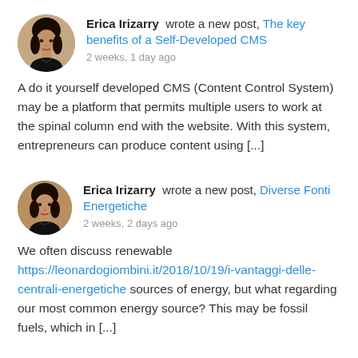[Figure (photo): Circular avatar of Erica Irizarry, a woman with dark hair]
Erica Irizarry wrote a new post, The key benefits of a Self-Developed CMS
2 weeks, 1 day ago
A do it yourself developed CMS (Content Control System) may be a platform that permits multiple users to work at the spinal column end with the website. With this system, entrepreneurs can produce content using [...]
[Figure (photo): Circular avatar of Erica Irizarry, a woman with dark hair]
Erica Irizarry wrote a new post, Diverse Fonti Energetiche
2 weeks, 2 days ago
We often discuss renewable https://leonardogiombini.it/2018/10/19/i-vantaggi-delle-centrali-energetiche sources of energy, but what regarding our most common energy source? This may be fossil fuels, which in [...]